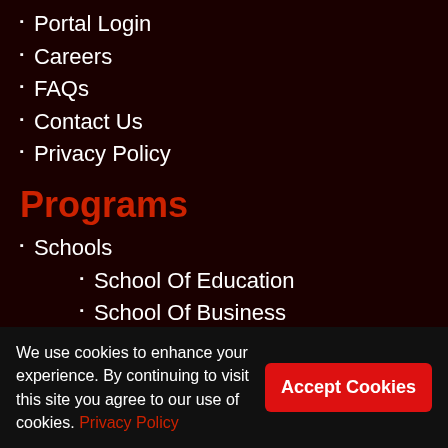Portal Login
Careers
FAQs
Contact Us
Privacy Policy
Programs
Schools
School Of Education
School Of Business
School Of ICT
Contacts
P.O. Box 570 - 50307,
We use cookies to enhance your experience. By continuing to visit this site you agree to our use of cookies. Privacy Policy